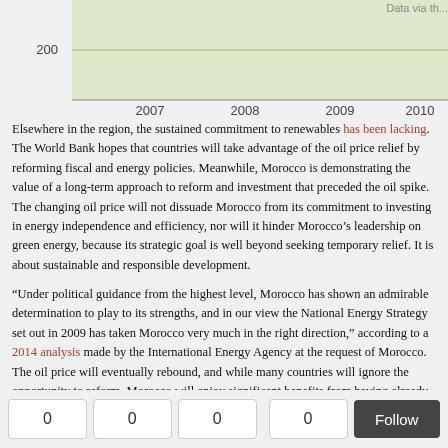[Figure (continuous-plot): Partial view of a line/area chart showing years 2007-2010 on x-axis and value 200 visible on y-axis. Chart background is light green/olive. Top right shows partial text 'Data via th...'.]
Elsewhere in the region, the sustained commitment to renewables has been lacking. The World Bank hopes that countries will take advantage of the oil price relief by reforming fiscal and energy policies. Meanwhile, Morocco is demonstrating the value of a long-term approach to reform and investment that preceded the oil spike. The changing oil price will not dissuade Morocco from its commitment to investing in energy independence and efficiency, nor will it hinder Morocco's leadership on green energy, because its strategic goal is well beyond seeking temporary relief. It is about sustainable and responsible development.
“Under political guidance from the highest level, Morocco has shown an admirable determination to play to its strengths, and in our view the National Energy Strategy set out in 2009 has taken Morocco very much in the right direction,” according to a 2014 analysis made by the International Energy Agency at the request of Morocco. The oil price will eventually rebound, and while many countries will ignore the opportunity to reform, Morocco will enjoy significant benefits from having already done so.